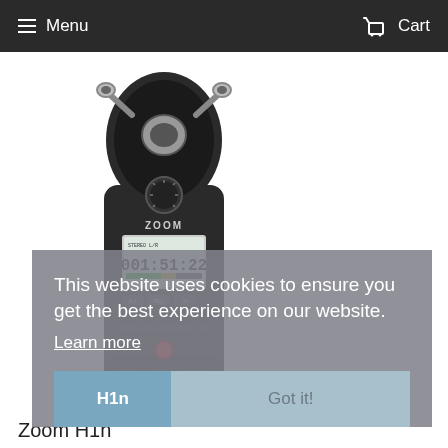Menu   Cart
[Figure (photo): Zoom H1n handheld audio recorder, dark gray body with X/Y microphones at top, digital display showing 001:51:22, various controls and buttons]
This website uses cookies to ensure you get the best experience on our website.
Learn more
H1n   Got it!
Zoom H1n